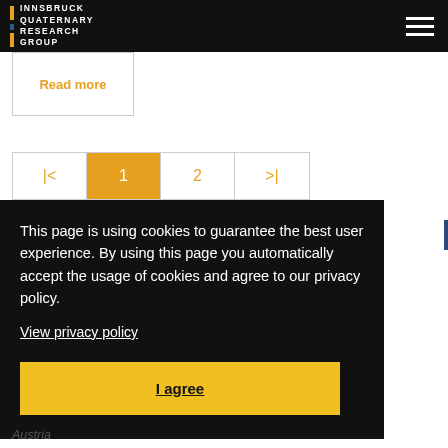INNSBRUCK QUATERNARY RESEARCH GROUP
Read more
|<  1  2  >|
This page is using cookies to guarantee the best user experience. By using this page you automatically accept the usage of cookies and agree to our privacy policy.
View privacy policy
I agree
Austria